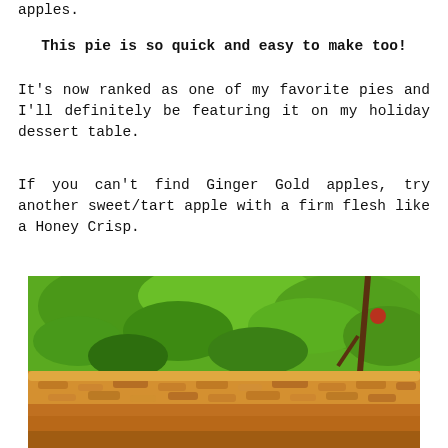apples.
This pie is so quick and easy to make too!
It's now ranked as one of my favorite pies and I'll definitely be featuring it on my holiday dessert table.
If you can't find Ginger Gold apples, try another sweet/tart apple with a firm flesh like a Honey Crisp.
[Figure (photo): A baked apple crumble pie with golden-brown topping, photographed outdoors with green foliage in the background.]